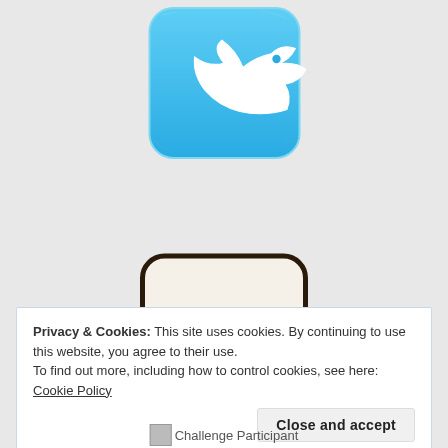[Figure (illustration): Twitter bird logo icon — blue rounded square with sketchy hand-drawn style white bird icon]
[Figure (illustration): Goodreads 'g' logo icon — cream/white rounded square with dark hand-drawn cursive letter g, dark border]
Icon credits here
Privacy & Cookies: This site uses cookies. By continuing to use this website, you agree to their use.
To find out more, including how to control cookies, see here: Cookie Policy
Close and accept
[Figure (other): Challenge Participant badge/image]